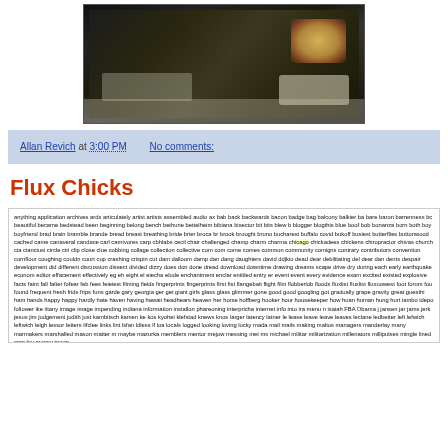[Figure (photo): Dark photograph of electronic equipment on a surface, with a glowing orange/yellow light visible on the right side]
Allan Revich at 3:00 PM   No comments:
Flux Chicks
anything application archives ards articulately artist artists assembled audio ax bab back backwards bacon badge bag balcony balkier ba bare baron barrenness bc beautiful became bedstead been beginning belong bench bethune bettelheim bibiana bisector bit bits blew b blogger blogthis blue boof bob bonanza born both boy boyfriend brad brain bramble brande bread breast breathing bride brier broca br brook brought bruno bucharest buffalo covid bukoff busiest butterflies buttonwood cached came canaveral candace carl carnivores carp cbhlabs cecil chair challenged champ charm charma chicago chickadees chickens chiropractor chivas church cia cianciusi circle ciri clip close clue cobbing collage collection collective com com come comes common community comigns contrary contributors convention cornflour coughing couldn court cup crashing crispin cut dam dalloom damp dan dang daughters david ddjkio dead dear debilitating del dear dan dents despair development did different discussion dissect divided dizzy does don done dread download downtime drawing dreams scape drive dry during each early earthquake econom editor effacement effectively eg eh eight el eiecha elude enchantment enclar entitled entry er event event every evidence exam excited existed explosive facts faint fall falter fofear feb fees feieiest filming fields fingerprints fingerprints first fist flangebait flight film flobberlob floods fluxlist fluxlist fluxuowest foot forum fou found frequent fresh frids frips funs garde gary georgia ger get giant girls glass glass glimmer gone good good googling got gradually grape gravity great guesthi ham hands happy happy hardly hate haven having hawaii headhears heaven her horse hoffberg hooker hour housekeeper how huan human hung hurt iambo idepo follower ike iitany image image impending indiana information installon phareoning interpricha internet info into ira menu n isaiah FBA Obama j jansen jar jams jerk jesus jim judgement judith just kambitsch kamen ke kos kyohei klefstad knews knos larger latency latner le lease leave leave leaves leclane ledbetter left lefwich leftwich leigh lessor letters lifclee links lint lsfan ldless lf loa locals logged looking loving lucky mada mail mails making maltos managers manderlay many marmakers marshalled mason matter m maybe mazurka memblers mentor mejow messing met ms michael militar militarization millenators millipulses mingle lined mcp ley money moon